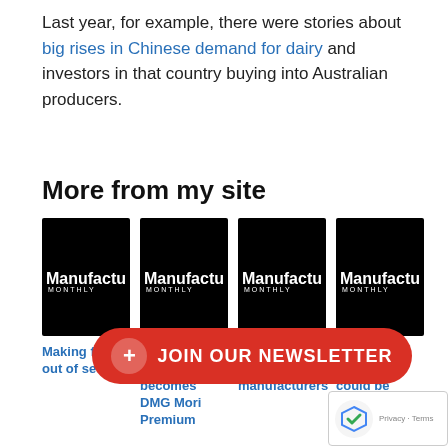Last year, for example, there were stories about big rises in Chinese demand for dairy and investors in that country buying into Australian producers.
More from my site
[Figure (other): Four thumbnail images with Manufacturers' Monthly logo on black background]
Making fuel out of sewage
Sandvik Coromant becomes DMG Mori Premium
for small-to-medium manufacturers
wet wipes manufa... could be flooded...
[Figure (other): JOIN OUR NEWSLETTER red button with plus icon]
[Figure (other): reCAPTCHA Privacy - Terms badge]